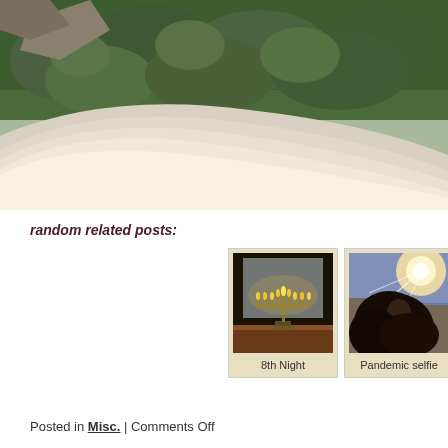[Figure (photo): Aerial view from airplane window showing green forested landscape below, with the curved white edge of the airplane window visible in the foreground, blurred and close-up.]
random related posts:
[Figure (photo): Thumbnail image of a menorah (hanukkiah) with all candles lit, displayed on a table near a window at night. Caption: 8th Night]
[Figure (photo): Thumbnail image of a person taking a selfie outdoors with bright sunlight flare and buildings in background. Caption: Pandemic selfie]
Posted in Misc. | Comments Off